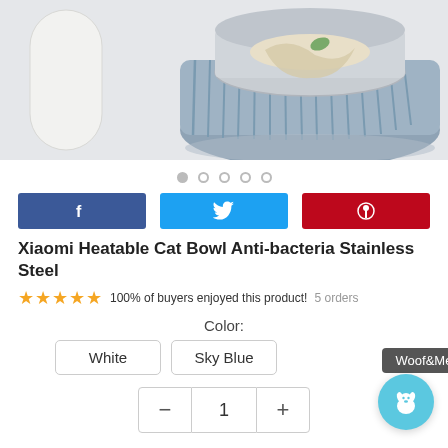[Figure (photo): Product photo of a Xiaomi heatable cat bowl with stainless steel insert in a ribbed blue-grey glass bowl, alongside a white cylindrical container, on a light background.]
● ○ ○ ○ ○ (image carousel dots)
[Figure (infographic): Social sharing buttons: Facebook (blue), Twitter (cyan), Pinterest (red)]
Xiaomi Heatable Cat Bowl Anti-bacteria Stainless Steel
★★★★★ 100% of buyers enjoyed this product! 5 orders
Color:
White   Sky Blue   Woof&Meow
− 1 +